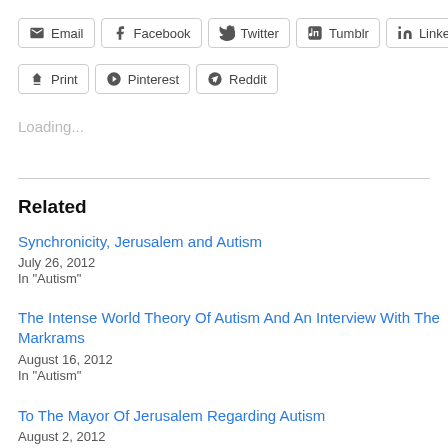Email
Facebook
Twitter
Tumblr
LinkedIn
Print
Pinterest
Reddit
Loading...
Related
Synchronicity, Jerusalem and Autism
July 26, 2012
In "Autism"
The Intense World Theory Of Autism And An Interview With The Markrams
August 16, 2012
In "Autism"
To The Mayor Of Jerusalem Regarding Autism
August 2, 2012